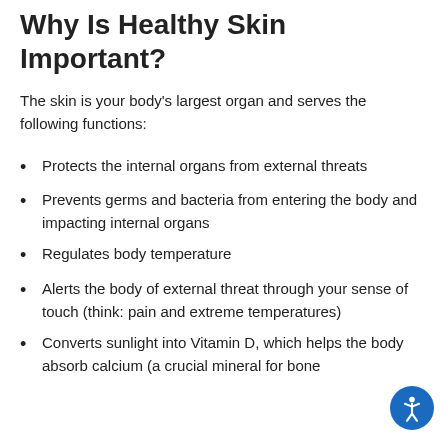Why Is Healthy Skin Important?
The skin is your body's largest organ and serves the following functions:
Protects the internal organs from external threats
Prevents germs and bacteria from entering the body and impacting internal organs
Regulates body temperature
Alerts the body of external threat through your sense of touch (think: pain and extreme temperatures)
Converts sunlight into Vitamin D, which helps the body absorb calcium (a crucial mineral for bone...